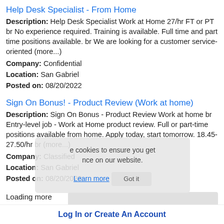Help Desk Specialist - From Home
Description: Help Desk Specialist Work at Home 27/hr FT or PT br No experience required. Training is available. Full time and part time positions available. br We are looking for a customer service-oriented (more...)
Company: Confidential
Location: San Gabriel
Posted on: 08/20/2022
Sign On Bonus! - Product Review (Work at home)
Description: Sign On Bonus - Product Review Work at home br Entry-level job - Work at Home product review. Full or part-time positions available from home. Apply today, start tomorrow. 18.45- 27.50/hr br (more...)
Company: Classified
Location: San Gabriel
Posted on: 08/20/2022
Loading more jobs...
Log In or Create An Account